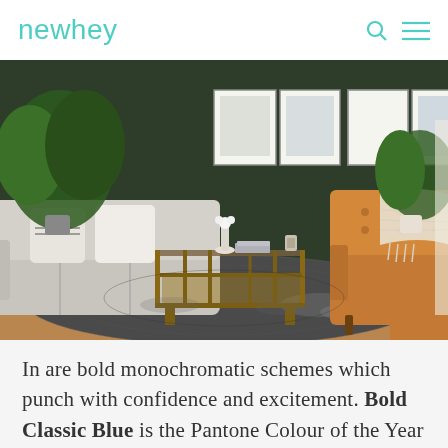newhey
[Figure (photo): Interior living room photo showing a light grey sofa with white pillows on the left, a rattan/glass coffee table in the centre on a dark patterned rug, a tan leather tufted armchair on the right with a woven throw blanket, framed art prints on a deep dark green wall, and houseplants. Warm wood floors are visible at the edges.]
In are bold monochromatic schemes which punch with confidence and excitement. Bold Classic Blue is the Pantone Colour of the Year and it sets the tone for other key colours to watch for.